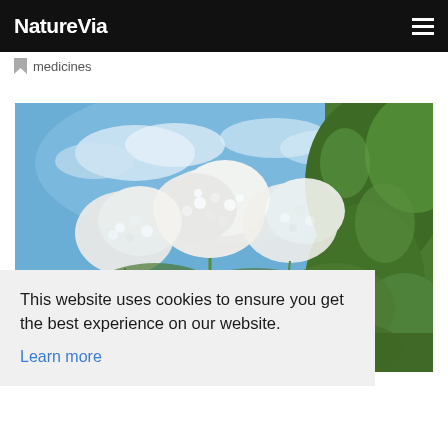NatureVia
medicines
[Figure (photo): Photograph of white elder flowers (Sambucus nigra) in bloom against a blue sky with green leaves]
This website uses cookies to ensure you get the best experience on our website.
Learn more